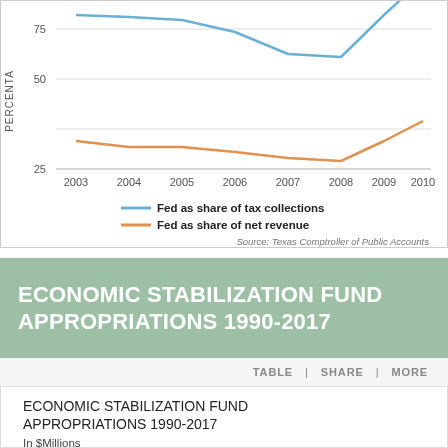[Figure (line-chart): ]
Source: Texas Comptroller of Public Accounts
ECONOMIC STABILIZATION FUND APPROPRIATIONS 1990-2017
TABLE | SHARE | MORE
ECONOMIC STABILIZATION FUND APPROPRIATIONS 1990-2017
In $Millions
125